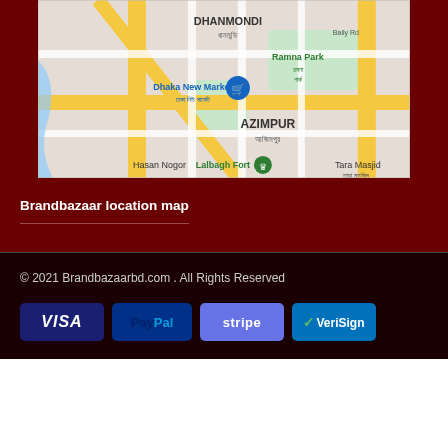[Figure (map): Google Maps screenshot showing Dhaka area including Dhanmondi, Azimpur, Ramna Park, Dhaka New Market, Lalbagh Fort, Hasan Nogor, Tara Masjid locations]
Brandbazaar location map
© 2021 Brandbazaarbd.com . All Rights Reserved
[Figure (infographic): Payment method badges: VISA, PayPal, stripe, VeriSign]